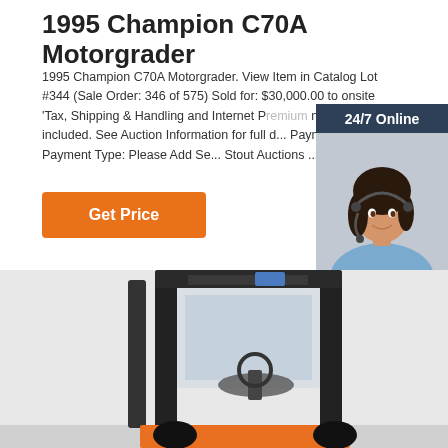1995 Champion C70A Motorgrader
1995 Champion C70A Motorgrader. View Item in Catalog Lot #344 (Sale Order: 346 of 575) Sold for: $30,000.00 to onsite 'Tax, Shipping & Handling and Internet Premium not included. See Auction Information for full d... Payment Type: Payment Type: Please Add Se... Stout Auctions ...
[Figure (other): Orange 'Get Price' button]
[Figure (other): 24/7 Online chat widget with woman wearing headset, 'Click here for free chat!' text, and QUOTATION button]
[Figure (photo): Photo of a forklift / industrial vehicle, partially visible, orange and black colors]